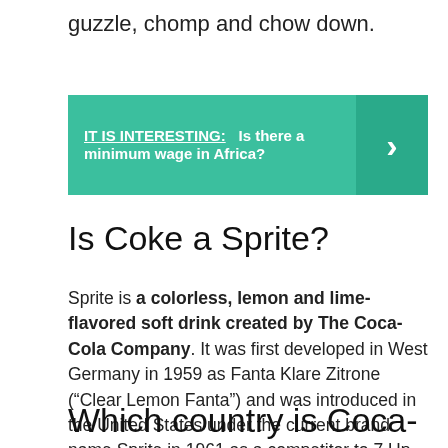guzzle, chomp and chow down.
IT IS INTERESTING:  Is there a minimum wage in Africa?
Is Coke a Sprite?
Sprite is a colorless, lemon and lime-flavored soft drink created by The Coca-Cola Company. It was first developed in West Germany in 1959 as Fanta Klare Zitrone (“Clear Lemon Fanta”) and was introduced in the United States under the current brand name Sprite in 1961 as a competitor to 7 Up.
Which country is Coca-Cola from?